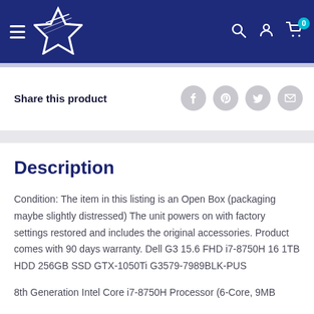Navigation header with logo, hamburger menu, search, account, and cart icons
Share this product
Description
Condition: The item in this listing is an Open Box (packaging maybe slightly distressed) The unit powers on with factory settings restored and includes the original accessories. Product comes with 90 days warranty. Dell G3 15.6 FHD i7-8750H 16 1TB HDD 256GB SSD GTX-1050Ti G3579-7989BLK-PUS
8th Generation Intel Core i7-8750H Processor (6-Core, 9MB